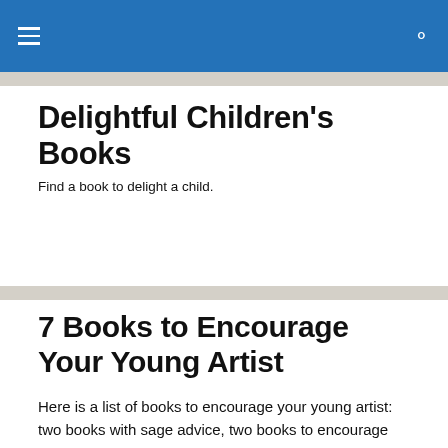☰  🔍
Delightful Children's Books
Find a book to delight a child.
7 Books to Encourage Your Young Artist
Here is a list of books to encourage your young artist: two books with sage advice, two books to encourage your